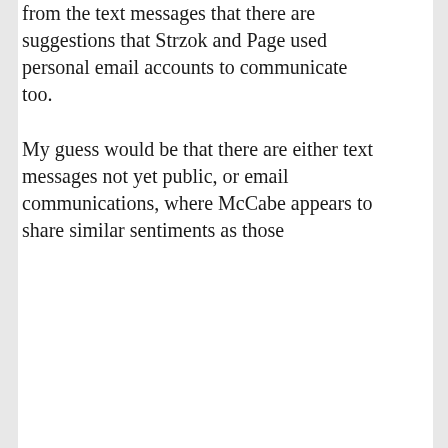from the text messages that there are suggestions that Strzok and Page used personal email accounts to communicate too.
My guess would be that there are either text messages not yet public, or email communications, where McCabe appears to share similar sentiments as those